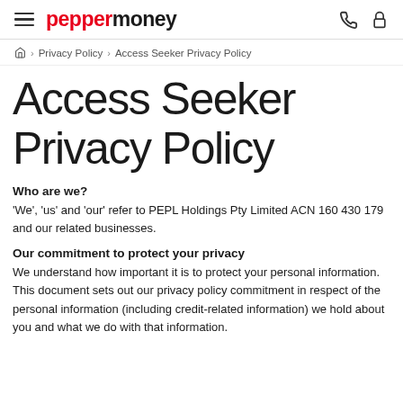pepper money
Home > Privacy Policy > Access Seeker Privacy Policy
Access Seeker Privacy Policy
Who are we?
'We', 'us' and 'our' refer to PEPL Holdings Pty Limited ACN 160 430 179 and our related businesses.
Our commitment to protect your privacy
We understand how important it is to protect your personal information. This document sets out our privacy policy commitment in respect of the personal information (including credit-related information) we hold about you and what we do with that information.